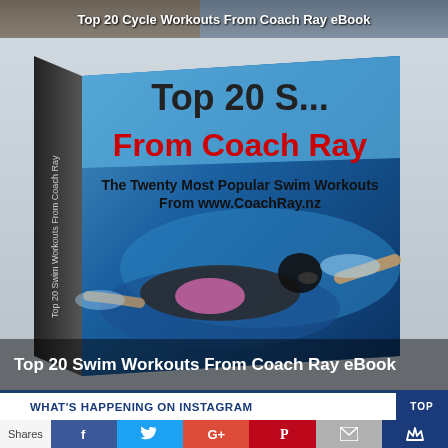[Figure (photo): Top banner showing Top 20 Cycle Workouts From Coach Ray eBook with cycling image background]
[Figure (photo): Book cover for Top 20 Swim Workouts From Coach Ray eBook showing swimmer doing butterfly stroke underwater, book cover reads 'Top 20... From Coach Ray - The Twenty Most Popular Swim Workouts From www.CoachRay.nz']
Top 20 Swim Workouts From Coach Ray eBook
WHAT'S HAPPENING ON INSTAGRAM
[Figure (infographic): Social media share bar with Facebook, Twitter, Google+, Pinterest, Email, and SumoMe buttons]